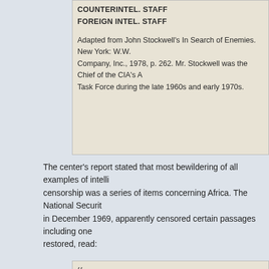COUNTERINTEL. STAFF
FOREIGN INTEL. STAFF
Adapted from John Stockwell's In Search of Enemies. New York: W.W. Company, Inc., 1978, p. 262. Mr. Stockwell was the Chief of the CIA's A Task Force during the late 1960s and early 1970s.
The center's report stated that most bewildering of all examples of intelligence censorship was a series of items concerning Africa. The National Security in December 1969, apparently censored certain passages including one restored, read:
““The purpose of this session was to decide what American policy should toward the governments of southern Africa.

A few lines down, the censors cut in midsentence: "There was sharp disagreement within the government on how hard a line the United States should take with the .. ." Restored, it goes on: "... white-minority regimes South Africa, Rhodesia, and the Portuguese colonies in Africa."

Then two words were cut from this sentence: "Henry Kissinger talked a kind of general posture the United States could maintain toward the